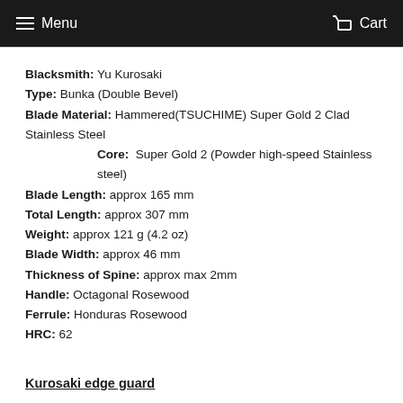Menu  Cart
Blacksmith: Yu Kurosaki
Type: Bunka (Double Bevel)
Blade Material: Hammered(TSUCHIME) Super Gold 2 Clad Stainless Steel
Core: Super Gold 2 (Powder high-speed Stainless steel)
Blade Length: approx 165 mm
Total Length: approx 307 mm
Weight: approx 121 g (4.2 oz)
Blade Width: approx 46 mm
Thickness of Spine: approx max 2mm
Handle: Octagonal Rosewood
Ferrule: Honduras Rosewood
HRC: 62
Kurosaki edge guard
Blacksmith Yu Kurosaki makes his knives in Echizen City,